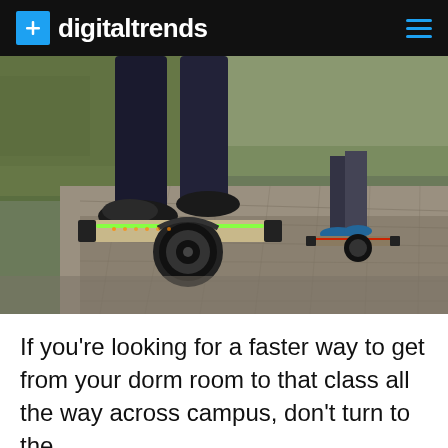digitaltrends
[Figure (photo): Two people riding single-wheeled electric skateboards (onewheel) on a paved path outdoors. The foreground shows a person in dark jeans and black shoes balancing on the device. Another rider is visible further along the path in the background.]
If you're looking for a faster way to get from your dorm room to that class all the way across campus, don't turn to the